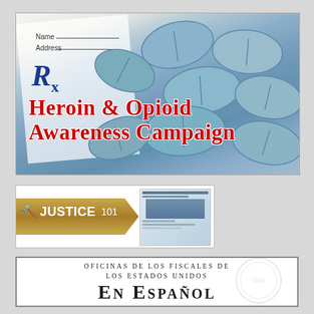[Figure (photo): Photo of blue prescription pills/tablets scattered on a prescription pad (Rx), with overlay text reading 'Heroin & Opioid Awareness Campaign' in bold red lettering.]
[Figure (screenshot): Justice 101 banner/logo showing a gavel icon, 'JUSTICE 101' text in white on a gold ribbon, and a screenshot of a website showing a government building.]
[Figure (infographic): White box with dark border containing text: 'Oficinas de los Fiscales de los Estados Unidos' and 'En Español' in large serif font.]